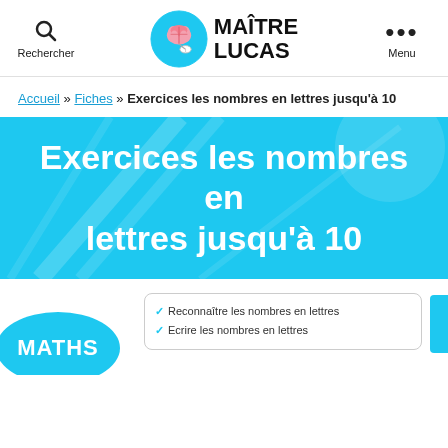Rechercher | MAÎTRE LUCAS | Menu
Accueil » Fiches » Exercices les nombres en lettres jusqu'à 10
Exercices les nombres en lettres jusqu'à 10
[Figure (illustration): Blue banner with white bold text reading 'Exercices les nombres en lettres jusqu'à 10' with decorative geometric shapes in the background]
[Figure (illustration): Blue circular badge with white text MATHS, paired with an info box listing: Reconnaître les nombres en lettres, Ecrire les nombres en lettres; and a blue side tab]